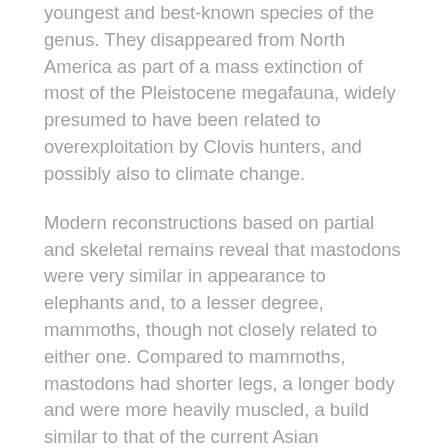youngest and best-known species of the genus. They disappeared from North America as part of a mass extinction of most of the Pleistocene megafauna, widely presumed to have been related to overexploitation by Clovis hunters, and possibly also to climate change.
Modern reconstructions based on partial and skeletal remains reveal that mastodons were very similar in appearance to elephants and, to a lesser degree, mammoths, though not closely related to either one. Compared to mammoths, mastodons had shorter legs, a longer body and were more heavily muscled, a build similar to that of the current Asian elephants. The average body size of the species Mammut. americanum was around 2.3 m (7 ft 7 in) in height at the shoulders, corresponding to a large female or a small male, but large males could grow up to 2.8 m (9 ft 2 in) in height and weigh as much as 4.5 tones. Like modern elephants, the females were smaller than the males. They had a low and long skull with long curved